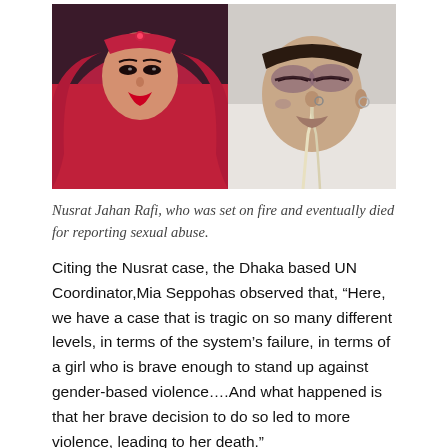[Figure (photo): Two photos side by side: left photo shows Nusrat Jahan Rafi wearing a red hijab and red lipstick; right photo shows the same person in a hospital with a nasal tube, eyes closed, face injured.]
Nusrat Jahan Rafi, who was set on fire and eventually died for reporting sexual abuse.
Citing the Nusrat case, the Dhaka based UN Coordinator,Mia Seppohas observed that, “Here, we have a case that is tragic on so many different levels, in terms of the system’s failure, in terms of a girl who is brave enough to stand up against gender-based violence….And what happened is that her brave decision to do so led to more violence, leading to her death.”